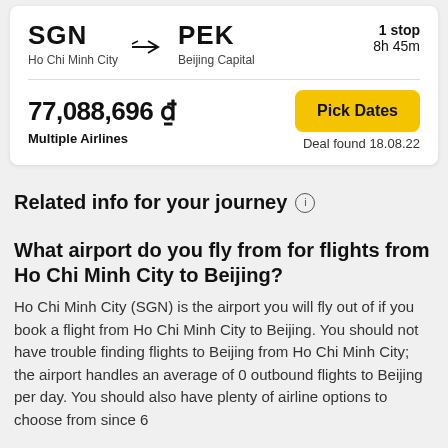SGN → PEK
Ho Chi Minh City    Beijing Capital
1 stop
8h 45m
77,088,696 ₫
Multiple Airlines
Pick Dates
Deal found 18.08.22
Related info for your journey ℹ
What airport do you fly from for flights from Ho Chi Minh City to Beijing?
Ho Chi Minh City (SGN) is the airport you will fly out of if you book a flight from Ho Chi Minh City to Beijing. You should not have trouble finding flights to Beijing from Ho Chi Minh City; the airport handles an average of 0 outbound flights to Beijing per day. You should also have plenty of airline options to choose from since 6